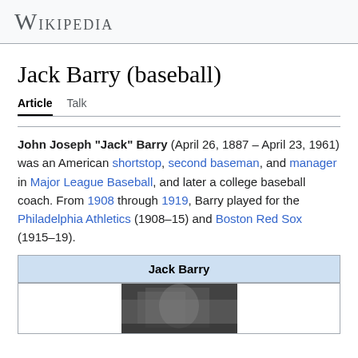Wikipedia
Jack Barry (baseball)
Article   Talk
John Joseph "Jack" Barry (April 26, 1887 – April 23, 1961) was an American shortstop, second baseman, and manager in Major League Baseball, and later a college baseball coach. From 1908 through 1919, Barry played for the Philadelphia Athletics (1908–15) and Boston Red Sox (1915–19).
| Jack Barry |
| --- |
| [photo] |